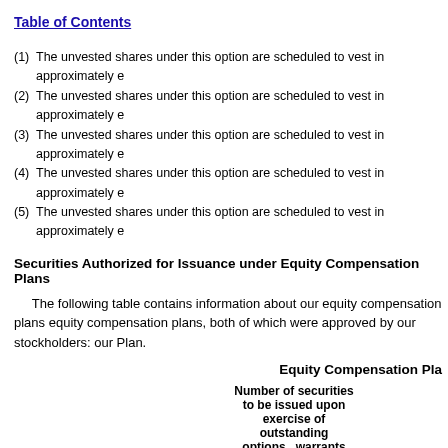Table of Contents
(1)  The unvested shares under this option are scheduled to vest in approximately e
(2)  The unvested shares under this option are scheduled to vest in approximately e
(3)  The unvested shares under this option are scheduled to vest in approximately e
(4)  The unvested shares under this option are scheduled to vest in approximately e
(5)  The unvested shares under this option are scheduled to vest in approximately e
Securities Authorized for Issuance under Equity Compensation Plans
The following table contains information about our equity compensation plans equity compensation plans, both of which were approved by our stockholders: our Plan.
| Plan category | Number of securities to be issued upon exercise of outstanding options, warrants and rights (a) |
| --- | --- |
| Equity compensation plans approved by |  |